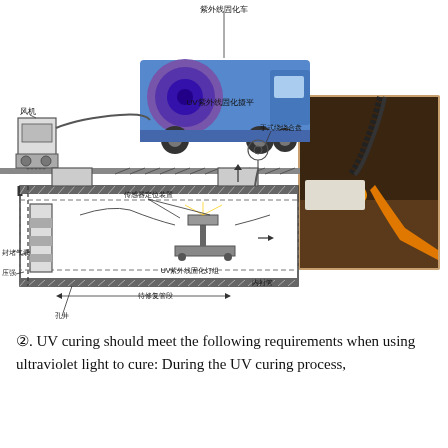[Figure (engineering-diagram): Technical schematic diagram of UV curing process for pipe rehabilitation. Shows a truck-mounted UV curing unit on the surface connected via hose to underground pipe. Chinese labels indicate: UV curing truck (紫外线固化车), blower (风机), manual hose reel (手式绕绕合盘), sensor positioning device (传感器定位装置), gas seal (封堵气囊), pressure (压强), manholes (孔井), UV curing light fixture (UV紫外线固化灯组), pipe repair length (待修复管段), inner lining (内衬管). Right side shows a photograph of the actual UV curing equipment being used in a pipe.]
②. UV curing should meet the following requirements when using ultraviolet light to cure: During the UV curing process,